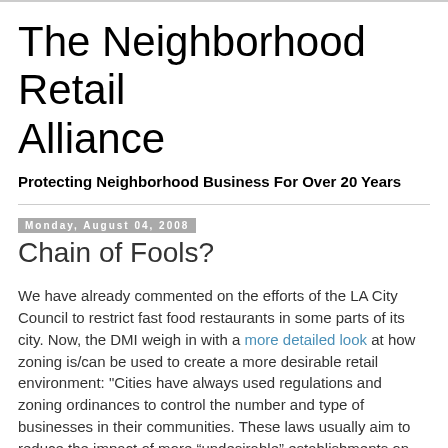The Neighborhood Retail Alliance
Protecting Neighborhood Business For Over 20 Years
Monday, August 04, 2008
Chain of Fools?
We have already commented on the efforts of the LA City Council to restrict fast food restaurants in some parts of its city. Now, the DMI weigh in with a more detailed look at how zoning is/can be used to create a more desirable retail environment: "Cities have always used regulations and zoning ordinances to control the number and type of businesses in their communities. These laws usually aim to reduce the impact of more “undesirable” establishments on neighborhoods. Cities regularly limit how close liquor stores may be to schools and churches while zoning laws banish